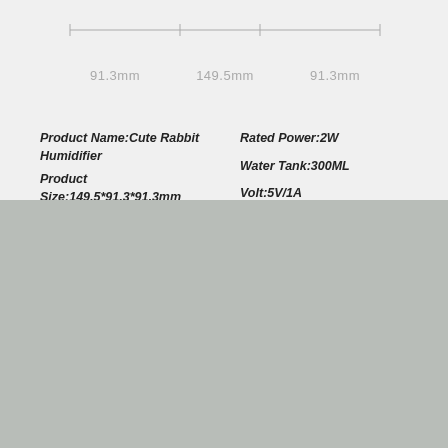[Figure (engineering-diagram): Dimension measurement diagram showing three horizontal segments with measurement arrows: 91.3mm, 149.5mm, 91.3mm]
Product Name:Cute Rabbit Humidifier
Product Size:149.5*91.3*91.3mm
Mist Output:25-35ml/h
Color:White/Pink
Rated Power:2W
Water Tank:300ML
Volt:5V/1A